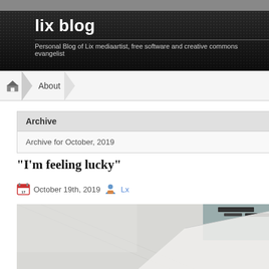lix blog — Personal Blog of Lix mediaartist, free software and creative commons evangelist
Archive
Archive for October, 2019
“I’m feeling lucky”
October 19th, 2019  Lx
[Figure (photo): A photo of a mostly white/light gray room or furniture, with dark wall-mounted items visible in the upper right corner.]